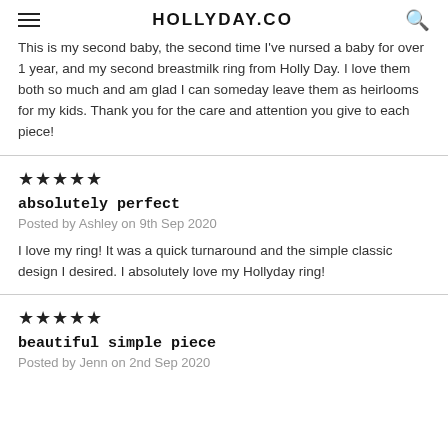HOLLYDAY.CO
This is my second baby, the second time I've nursed a baby for over 1 year, and my second breastmilk ring from Holly Day. I love them both so much and am glad I can someday leave them as heirlooms for my kids. Thank you for the care and attention you give to each piece!
★★★★★
absolutely perfect
Posted by Ashley on 9th Sep 2020
I love my ring! It was a quick turnaround and the simple classic design I desired. I absolutely love my Hollyday ring!
★★★★★
beautiful simple piece
Posted by Jenn on 2nd Sep 2020